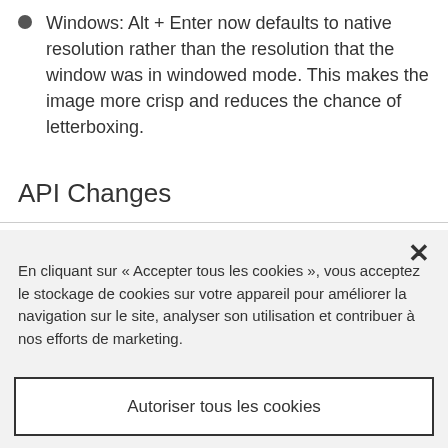Windows: Alt + Enter now defaults to native resolution rather than the resolution that the window was in windowed mode. This makes the image more crisp and reduces the chance of letterboxing.
API Changes
En cliquant sur « Accepter tous les cookies », vous acceptez le stockage de cookies sur votre appareil pour améliorer la navigation sur le site, analyser son utilisation et contribuer à nos efforts de marketing.
Paramètres des cookies
Autoriser tous les cookies